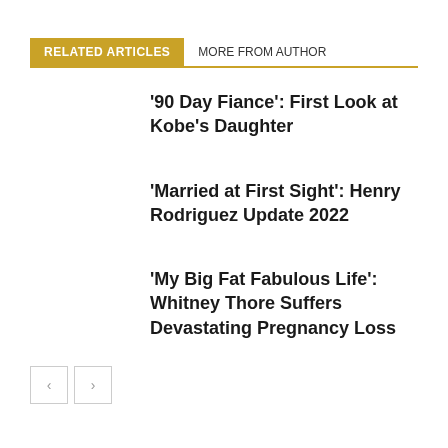RELATED ARTICLES   MORE FROM AUTHOR
‘90 Day Fiance’: First Look at Kobe’s Daughter
‘Married at First Sight’: Henry Rodriguez Update 2022
‘My Big Fat Fabulous Life’: Whitney Thore Suffers Devastating Pregnancy Loss